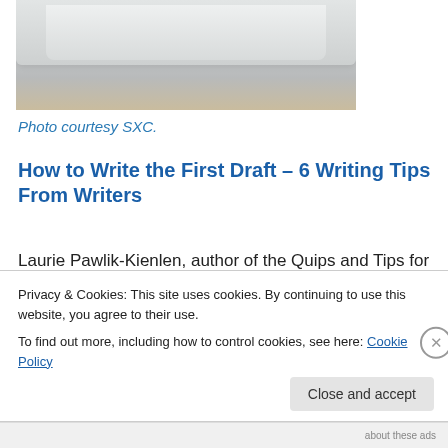[Figure (photo): Partial photo of a white plate or dish on a wooden surface, cropped at top]
Photo courtesy SXC.
How to Write the First Draft – 6 Writing Tips From Writers
Laurie Pawlik-Kienlen, author of the Quips and Tips for Successful Writers blog, shares advice from other writers on how to get words on the page. From “avoid editing” to
Privacy & Cookies: This site uses cookies. By continuing to use this website, you agree to their use.
To find out more, including how to control cookies, see here: Cookie Policy
Close and accept